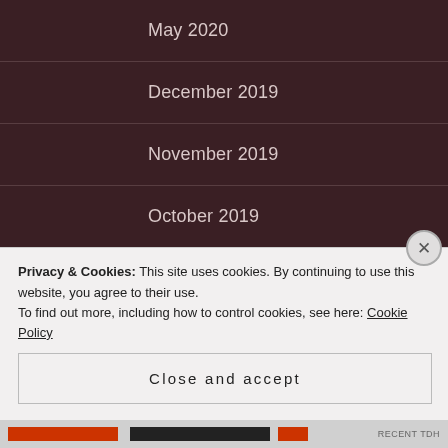May 2020
December 2019
November 2019
October 2019
September 2019
August 2019
July 2019
June 2019
Privacy & Cookies: This site uses cookies. By continuing to use this website, you agree to their use.
To find out more, including how to control cookies, see here: Cookie Policy
Close and accept